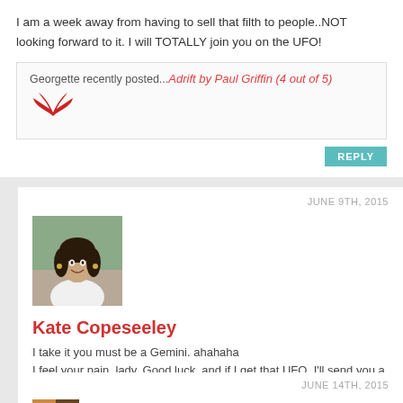I am a week away from having to sell that filth to people..NOT looking forward to it. I will TOTALLY join you on the UFO!
Georgette recently posted...Adrift by Paul Griffin (4 out of 5)
[Figure (illustration): Red wings/horns decorative icon]
REPLY
JUNE 9TH, 2015
[Figure (photo): Avatar photo of Kate Copeseeley, a woman with dark hair, smiling, wearing a white top]
Kate Copeseeley
I take it you must be a Gemini. ahahaha I feel your pain, lady. Good luck, and if I get that UFO, I'll send you a personal invite! 🙂
REPLY
JUNE 14TH, 2015